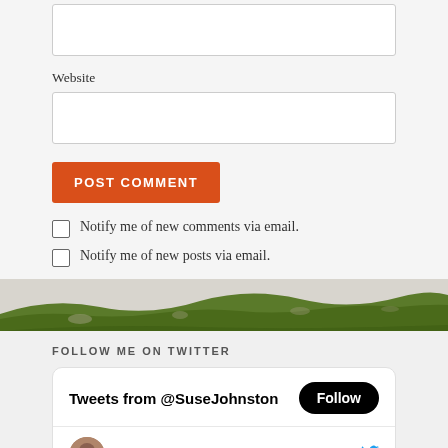Website
POST COMMENT
Notify me of new comments via email.
Notify me of new posts via email.
[Figure (photo): Landscape strip showing green grassy hillside with rocks and shrubs]
FOLLOW ME ON TWITTER
Tweets from @SuseJohnston
Follow
Susan John... @SuseJohn... · Aug 22